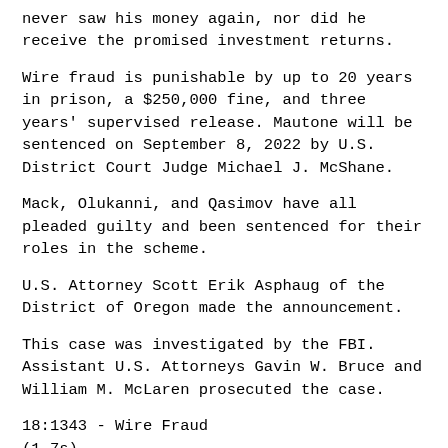never saw his money again, nor did he receive the promised investment returns.
Wire fraud is punishable by up to 20 years in prison, a $250,000 fine, and three years' supervised release. Mautone will be sentenced on September 8, 2022 by U.S. District Court Judge Michael J. McShane.
Mack, Olukanni, and Qasimov have all pleaded guilty and been sentenced for their roles in the scheme.
U.S. Attorney Scott Erik Asphaug of the District of Oregon made the announcement.
This case was investigated by the FBI. Assistant U.S. Attorneys Gavin W. Bruce and William M. McLaren prosecuted the case.
18:1343 - Wire Fraud
(1-7s)
Outcome: 05/12/2022 952 Minutes of Proceedings